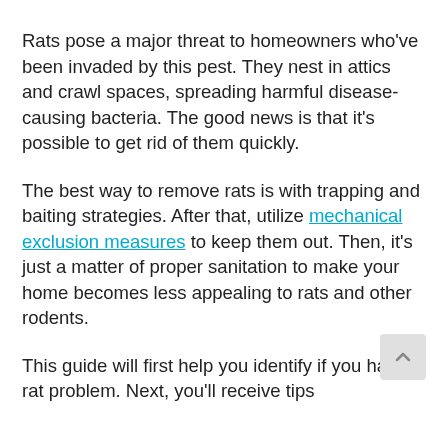Rats pose a major threat to homeowners who've been invaded by this pest. They nest in attics and crawl spaces, spreading harmful disease-causing bacteria. The good news is that it's possible to get rid of them quickly.
The best way to remove rats is with trapping and baiting strategies. After that, utilize mechanical exclusion measures to keep them out. Then, it's just a matter of proper sanitation to make your home becomes less appealing to rats and other rodents.
This guide will first help you identify if you have a rat problem. Next, you'll receive tips